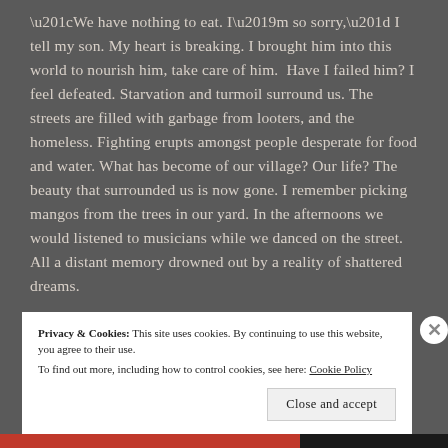“We have nothing to eat. I’m so sorry,” I tell my son. My heart is breaking. I brought him into this world to nourish him, take care of him.  Have I failed him? I feel defeated. Starvation and turmoil surround us. The streets are filled with garbage from looters, and the homeless. Fighting erupts amongst people desperate for food and water. What has become of our village? Our life? The beauty that surrounded us is now gone. I remember picking mangos from the trees in our yard. In the afternoons we would listened to musicians while we danced on the street.  All a distant memory drowned out by a reality of shattered dreams.
Privacy & Cookies: This site uses cookies. By continuing to use this website, you agree to their use.
To find out more, including how to control cookies, see here: Cookie Policy